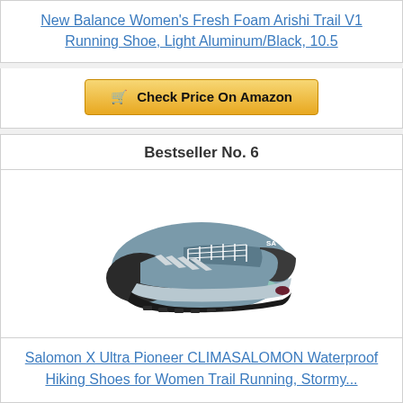New Balance Women's Fresh Foam Arishi Trail V1 Running Shoe, Light Aluminum/Black, 10.5
Check Price On Amazon
Bestseller No. 6
[Figure (photo): Salomon X Ultra Pioneer hiking shoe for women, shown in a side/front angle. The shoe is grey/teal with black lacing system and black outsole with teal/mint accents.]
Salomon X Ultra Pioneer CLIMASALOMON Waterproof Hiking Shoes for Women Trail Running, Stormy...